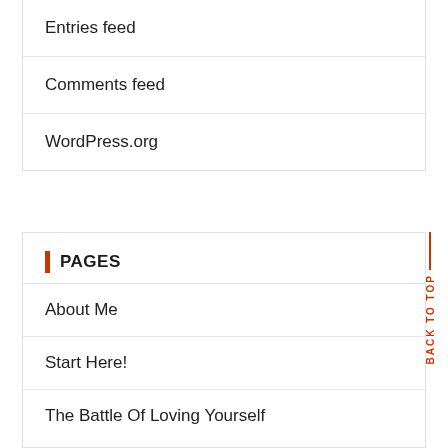Entries feed
Comments feed
WordPress.org
PAGES
About Me
Start Here!
The Battle Of Loving Yourself